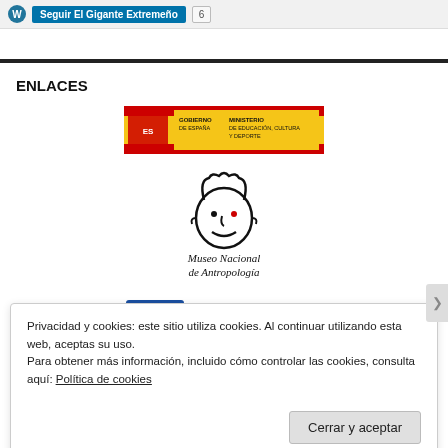Seguir El Gigante Extremeño  6
ENLACES
[Figure (logo): Gobierno de España – Ministerio de Educación, Cultura y Deporte logo (yellow and red banner)]
[Figure (logo): Museo Nacional de Antropología logo with hand-drawn face illustration]
[Figure (logo): Diputación de Badajoz logo with blue badge and stars]
[Figure (logo): Ayuntamiento de [city] logo with crown emblem]
Privacidad y cookies: este sitio utiliza cookies. Al continuar utilizando esta web, aceptas su uso.
Para obtener más información, incluido cómo controlar las cookies, consulta aquí: Política de cookies
Cerrar y aceptar